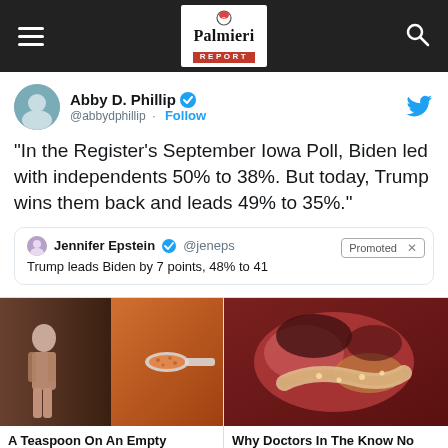Palmieri Report
Abby D. Phillip @abbydphillip · Follow
"In the Register's September Iowa Poll, Biden led with independents 50% to 38%. But today, Trump wins them back and leads 49% to 35%."
Jennifer Epstein @jeneps — Trump leads Biden by 7 points, 48% to 41 — Promoted
[Figure (photo): Advertisement: A fitness photo and spice on a spoon. A Teaspoon On An Empty Stomach Burns Fat Like Crazy! 124,189]
[Figure (photo): Advertisement: Medical image of internal organs. Why Doctors In The Know No Longer Prescribe Metformin 102,330]